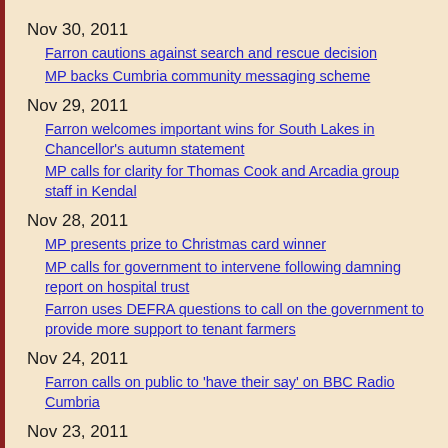Nov 30, 2011
Farron cautions against search and rescue decision
MP backs Cumbria community messaging scheme
Nov 29, 2011
Farron welcomes important wins for South Lakes in Chancellor's autumn statement
MP calls for clarity for Thomas Cook and Arcadia group staff in Kendal
Nov 28, 2011
MP presents prize to Christmas card winner
MP calls for government to intervene following damning report on hospital trust
Farron uses DEFRA questions to call on the government to provide more support to tenant farmers
Nov 24, 2011
Farron calls on public to 'have their say' on BBC Radio Cumbria
Nov 23, 2011